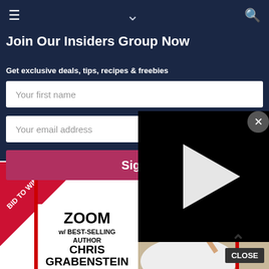≡  ∨  🔍
Join Our Insiders Group Now
Get exclusive deals, tips, recipes & freebies
Your first name
Your email address
Sign
[Figure (screenshot): Book advertisement showing diagonal red ribbon with text 'BID TO WIN', title 'ZOOM w/ BEST-SELLING AUTHOR CHRIS GRABENSTEIN', author photo with glasses, and red vertical lines on sides]
[Figure (screenshot): Video overlay panel on black background with white play button triangle, with CLOSE button]
CLOSE